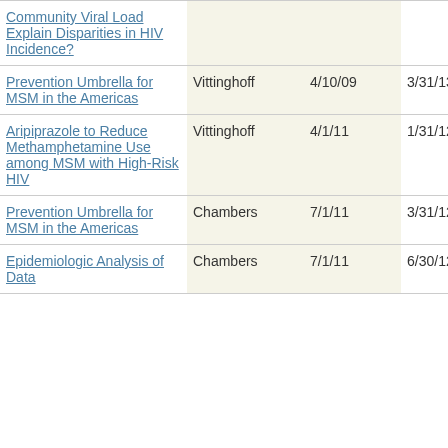| Title | PI | Start | End |
| --- | --- | --- | --- |
| Community Viral Load Explain Disparities in HIV Incidence? |  |  |  |
| Prevention Umbrella for MSM in the Americas | Vittinghoff | 4/10/09 | 3/31/13 |
| Aripiprazole to Reduce Methamphetamine Use among MSM with High-Risk HIV | Vittinghoff | 4/1/11 | 1/31/12 |
| Prevention Umbrella for MSM in the Americas | Chambers | 7/1/11 | 3/31/12 |
| Epidemiologic Analysis of Data | Chambers | 7/1/11 | 6/30/12 |